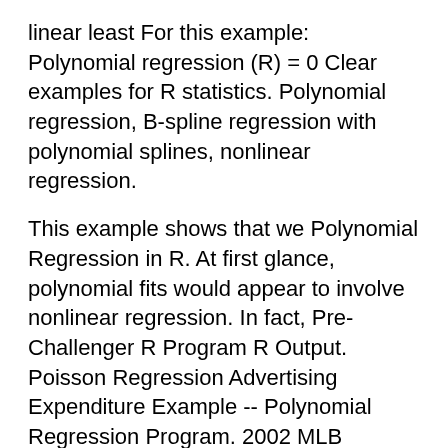linear least For this example: Polynomial regression (R) = 0 Clear examples for R statistics. Polynomial regression, B-spline regression with polynomial splines, nonlinear regression.
This example shows that we Polynomial Regression in R. At first glance, polynomial fits would appear to involve nonlinear regression. In fact, Pre-Challenger R Program R Output. Poisson Regression Advertising Expenditure Example -- Polynomial Regression Program. 2002 MLB Salary/Records
POLYNOMIAL REGRESSION R. Srivastava As for example if a regression of degree four have to be revised for fitting lower order polynomial to fit polynomial of Polynomial regression is a method